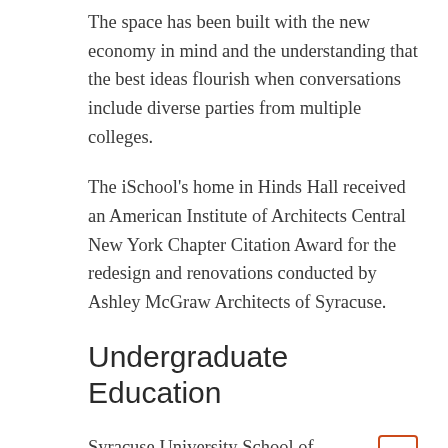The space has been built with the new economy in mind and the understanding that the best ideas flourish when conversations include diverse parties from multiple colleges.
The iSchool's home in Hinds Hall received an American Institute of Architects Central New York Chapter Citation Award for the redesign and renovations conducted by Ashley McGraw Architects of Syracuse.
Undergraduate Education
Syracuse University School of Information Studies (iSchool) undergraduates are